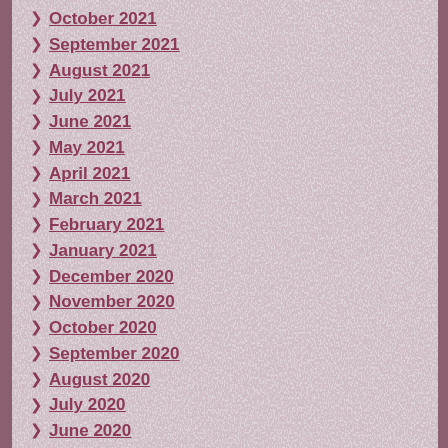October 2021
September 2021
August 2021
July 2021
June 2021
May 2021
April 2021
March 2021
February 2021
January 2021
December 2020
November 2020
October 2020
September 2020
August 2020
July 2020
June 2020
May 2020
April 2020
March 2020
February 2020